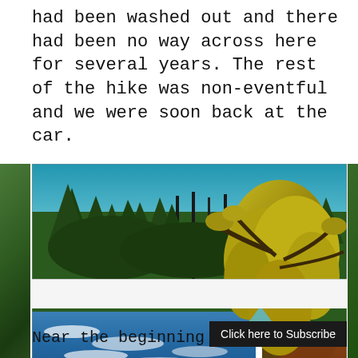had been washed out and there had been no way across here for several years. The rest of the hike was non-eventful and we were soon back at the car.
[Figure (photo): Outdoor nature photograph showing a rushing river or creek in the foreground with white water rapids, forested hillside with tall evergreen trees in the background, and a large tree draped in yellow-green moss or lichen prominently on the right side. Blue sky visible above the treeline. Photo credit: Jay Thompson.]
Near the beginning of the Sh